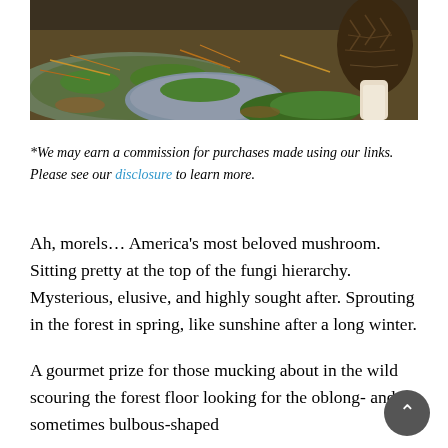[Figure (photo): Close-up photograph of morel mushrooms growing among pine needles, moss-covered rocks, and leaf litter on a forest floor. A dark brown honeycomb-textured morel cap is visible at the right, with a pale stalk base visible. The scene shows green moss on gray rocks and scattered orange pine needles.]
*We may earn a commission for purchases made using our links.  Please see our disclosure to learn more.
Ah, morels… America’s most beloved mushroom. Sitting pretty at the top of the fungi hierarchy. Mysterious, elusive, and highly sought after. Sprouting in the forest in spring, like sunshine after a long winter.
A gourmet prize for those mucking about in the wild scouring the forest floor looking for the oblong- and sometimes bulbous-shaped